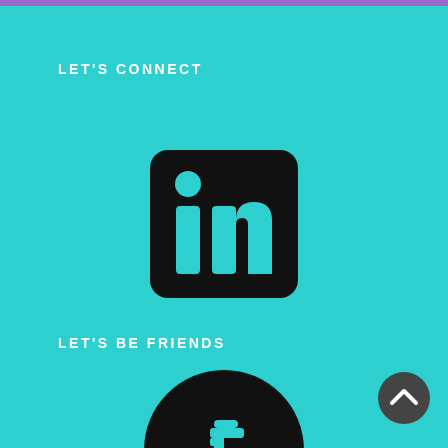LET'S CONNECT
[Figure (logo): LinkedIn logo icon — black rounded square with 'in' lettering in teal]
LET'S BE FRIENDS
[Figure (logo): Facebook logo icon — black circle with 'f' lettering in teal]
[Figure (other): Dark grey circular scroll-to-top button with upward chevron arrow]